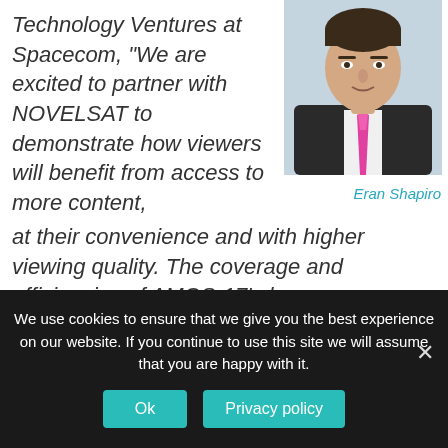Technology Ventures at Spacecom, "We are excited to partner with NOVELSAT to demonstrate how viewers will benefit from access to more content, at their convenience and with higher viewing quality. The coverage and efficiencies of AMOS-17's beams are unique over Sub Saharan Africa, and with NOVELSAT video processing and delivery solution we can
[Figure (photo): Portrait photo of Eran Shapiro, a man in a dark suit with a pink/white tie, light blue background]
Eran Shapiro
We use cookies to ensure that we give you the best experience on our website. If you continue to use this site we will assume that you are happy with it.